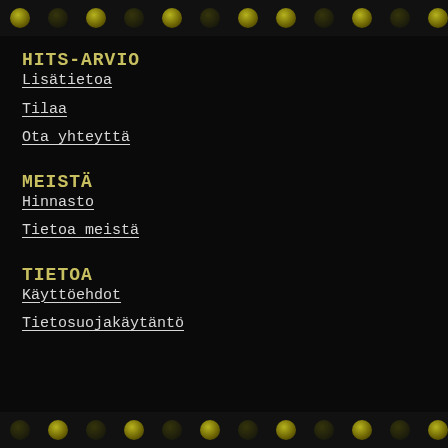HITS-ARVIO
Lisätietoa
Tilaa
Ota yhteyttä
MEISTÄ
Hinnasto
Tietoa meistä
TIETOA
Käyttöehdot
Tietosuojakäytäntö